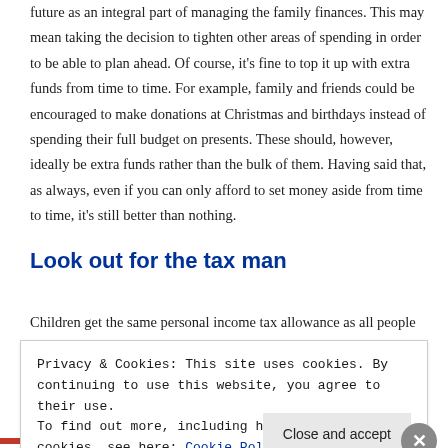future as an integral part of managing the family finances. This may mean taking the decision to tighten other areas of spending in order to be able to plan ahead. Of course, it's fine to top it up with extra funds from time to time. For example, family and friends could be encouraged to make donations at Christmas and birthdays instead of spending their full budget on presents. These should, however, ideally be extra funds rather than the bulk of them. Having said that, as always, even if you can only afford to set money aside from time to time, it's still better than nothing.
Look out for the tax man
Children get the same personal income tax allowance as all people
Privacy & Cookies: This site uses cookies. By continuing to use this website, you agree to their use.
To find out more, including how to control cookies, see here: Cookie Policy
Close and accept